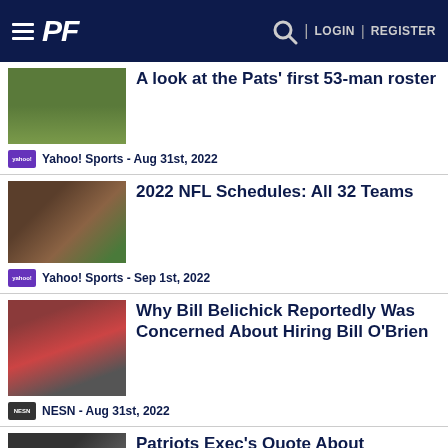PF — LOGIN | REGISTER
A look at the Pats' first 53-man roster
Yahoo! Sports - Aug 31st, 2022
2022 NFL Schedules: All 32 Teams
Yahoo! Sports - Sep 1st, 2022
Why Bill Belichick Reportedly Was Concerned About Hiring Bill O'Brien
NESN - Aug 31st, 2022
Patriots Exec's Quote About
Cameron McGrone Ages Poorly With LB's Release